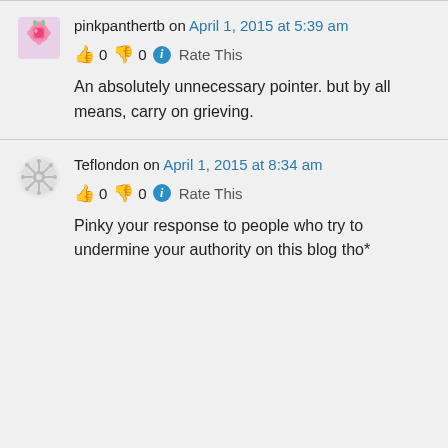pinkpanthertb on April 1, 2015 at 5:39 am
👍 0 👎 0 ℹ Rate This
An absolutely unnecessary pointer. but by all means, carry on grieving.
Teflondon on April 1, 2015 at 8:34 am
👍 0 👎 0 ℹ Rate This
Pinky your response to people who try to undermine your authority on this blog tho*